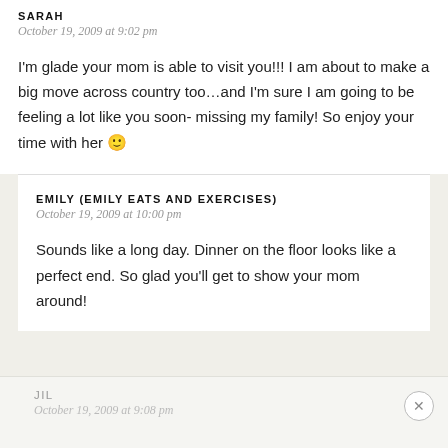SARAH
October 19, 2009 at 9:02 pm
I'm glade your mom is able to visit you!!! I am about to make a big move across country too…and I'm sure I am going to be feeling a lot like you soon- missing my family! So enjoy your time with her 🙂
EMILY (EMILY EATS AND EXERCISES)
October 19, 2009 at 10:00 pm
Sounds like a long day. Dinner on the floor looks like a perfect end. So glad you'll get to show your mom around!
JIL
October 19, 2009 at 9:08 pm